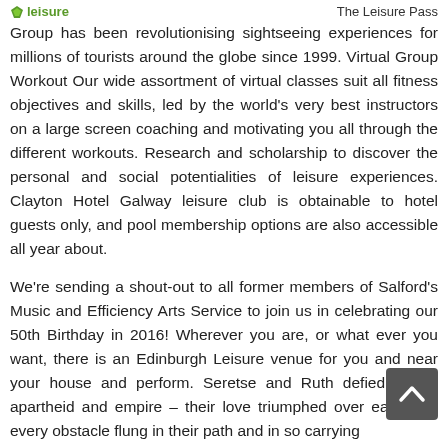leisure   The Leisure Pass
Group has been revolutionising sightseeing experiences for millions of tourists around the globe since 1999. Virtual Group Workout Our wide assortment of virtual classes suit all fitness objectives and skills, led by the world's very best instructors on a large screen coaching and motivating you all through the different workouts. Research and scholarship to discover the personal and social potentialities of leisure experiences. Clayton Hotel Galway leisure club is obtainable to hotel guests only, and pool membership options are also accessible all year about.
We're sending a shout-out to all former members of Salford's Music and Efficiency Arts Service to join us in celebrating our 50th Birthday in 2016! Wherever you are, or what ever you want, there is an Edinburgh Leisure venue for you and near your house and perform. Seretse and Ruth defied family, apartheid and empire – their love triumphed over each and every obstacle flung in their path and in so carrying